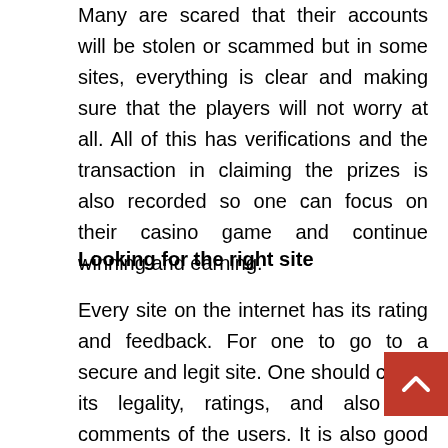Many are scared that their accounts will be stolen or scammed but in some sites, everything is clear and making sure that the players will not worry at all. All of this has verifications and the transaction in claiming the prizes is also recorded so one can focus on their casino game and continue winning and earning.
Looking for the right site
Every site on the internet has its rating and feedback. For one to go to a secure and legit site. One should check its legality, ratings, and also the comments of the users. It is also good to do a background check or research so that upon joining one, it has no doubts, fear, and has peace of mind. So many trusting sites on the internet one only needs to find the right one to enjoy the company of these social platforms during